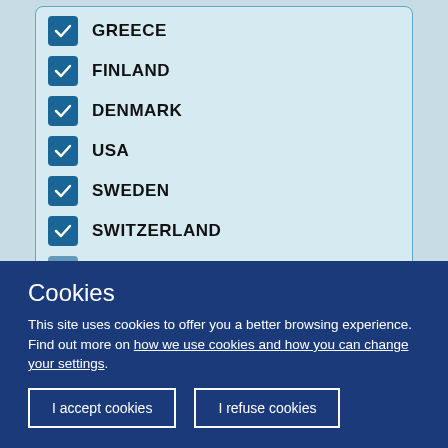GREECE
FINLAND
DENMARK
USA
SWEDEN
SWITZERLAND
LATVIA
Show more
[Figure (infographic): Information icon (i) in a circle]
360 results found
Cookies
This site uses cookies to offer you a better browsing experience. Find out more on how we use cookies and how you can change your settings.
I accept cookies
I refuse cookies